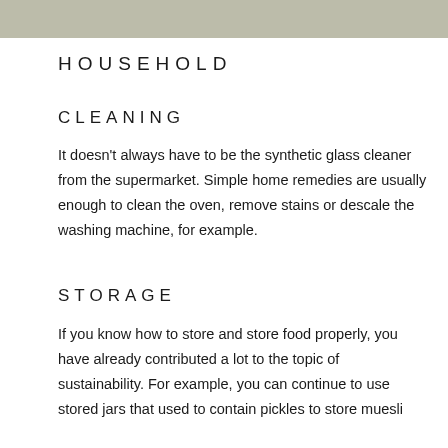[Figure (photo): Partial photo strip at top of page, showing a cropped image of hands with greenery/plants, partially visible]
HOUSEHOLD
CLEANING
It doesn't always have to be the synthetic glass cleaner from the supermarket. Simple home remedies are usually enough to clean the oven, remove stains or descale the washing machine, for example.
STORAGE
If you know how to store and store food properly, you have already contributed a lot to the topic of sustainability. For example, you can continue to use stored jars that used to contain pickles to store muesli